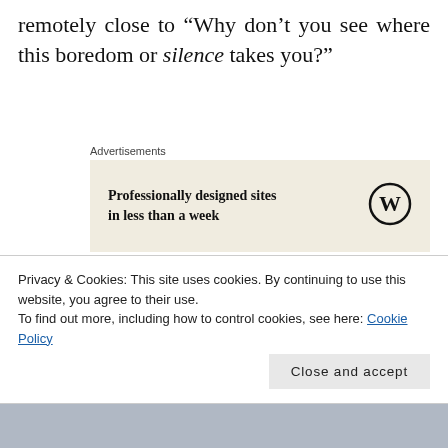remotely close to “Why don’t you see where this boredom or silence takes you?”
[Figure (other): Advertisement box with WordPress logo. Text: 'Professionally designed sites in less than a week']
Now wouldn’t that be a territory you would wish to explore? It can be uncomfortable at first, but when you do, you will realize that Stillness Speaks. It is those moments of stillness that
Privacy & Cookies: This site uses cookies. By continuing to use this website, you agree to their use.
To find out more, including how to control cookies, see here: Cookie Policy
Close and accept